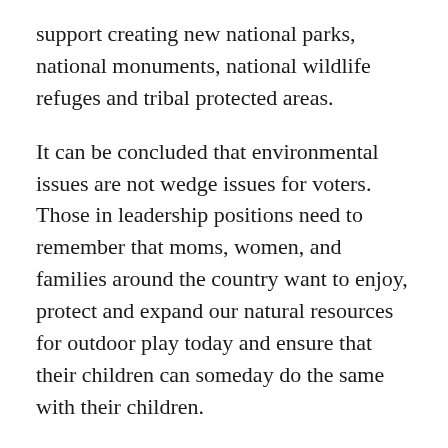support creating new national parks, national monuments, national wildlife refuges and tribal protected areas.
It can be concluded that environmental issues are not wedge issues for voters. Those in leadership positions need to remember that moms, women, and families around the country want to enjoy, protect and expand our natural resources for outdoor play today and ensure that their children can someday do the same with their children.
Coloradans will be outside enjoying the sunshine in and around our state during the summer because parents know that outdoor